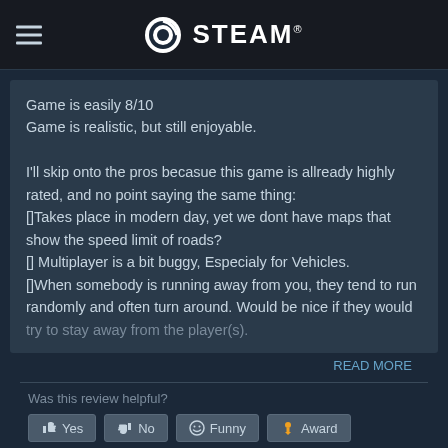STEAM
Game is easily 8/10
Game is realistic, but still enjoyable.

I'll skip onto the pros becasue this game is allready highly rated, and no point saying the same thing:
[]Takes place in modern day, yet we dont have maps that show the speed limit of roads?
[] Multiplayer is a bit buggy, Especialy for Vehicles.
[]When somebody is running away from you, they tend to run randomly and often turn around. Would be nice if they would try to stay away from the player(s).
READ MORE
Was this review helpful?
Yes   No   Funny   Award
5 people found this review helpful
1 person found this review funny